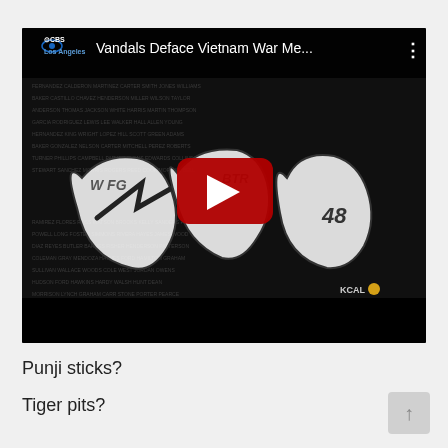[Figure (screenshot): YouTube video thumbnail showing a CBS Los Angeles news video titled 'Vandals Deface Vietnam War Me...' with a dark image of graffiti spray-painted on a memorial wall covered in names, with a red YouTube play button in the center.]
Punji sticks?
Tiger pits?